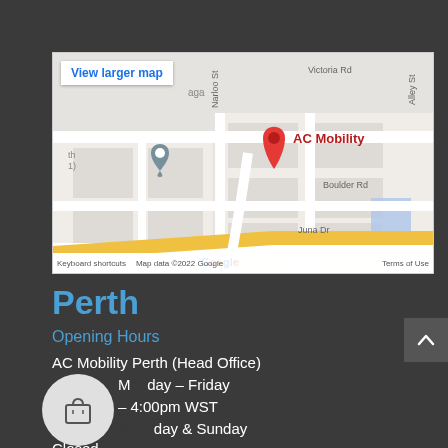[Figure (map): Google Maps showing AC Mobility location in Perth, with street labels Victoria Rd, Narloo St, Alley St, Boulder Rd, Juna Dr, and a red map pin labeled AC Mobility. Includes 'View larger map' link and map footer with keyboard shortcuts, Map data ©2022 Google, Terms of Use.]
Perth
Opening Hours
AC Mobility Perth (Head Office)
Monday – Friday
– 4:00pm WST
day & Sunday
Closed